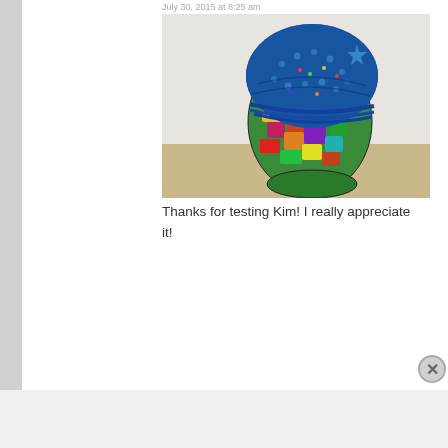July 30, 2015 at 8:25 am
[Figure (photo): A blue knit/crochet beanie hat displayed on a colorful comic-book-themed mannequin head on a wooden surface against a white textured wall.]
Thanks for testing Kim! I really appreciate it!
[Figure (photo): MAC Cosmetics advertisement banner showing multiple lipsticks in purple, pink, and red shades with MAC logo and SHOP NOW button.]